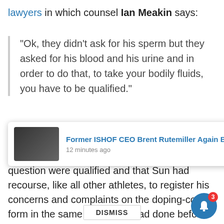lawyers in which counsel Ian Meakin says:
“Ok, they didn’t ask for his sperm but they asked for his blood and his urine and in order to do that, to take your bodily fluids, you have to be qualified.”
WADA says that the doping-control officers in question were qualified and that Sun had recourse, like all other athletes, to register his concerns and complaints on the doping-control form in the same way as he had done before and in the way that athletes do the world over.
[Figure (screenshot): Notification overlay showing Former ISHOF CEO Brent Rutemiller Again Battling, 12 minutes ago, with thumbnail image and teal banner reading HOUSAND?, dismiss button, and bell icon with badge showing 3]